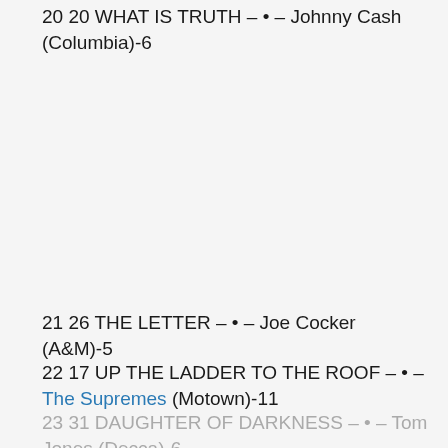20 20 WHAT IS TRUTH – • – Johnny Cash (Columbia)-6
21 26 THE LETTER – • – Joe Cocker (A&M)-5
22 17 UP THE LADDER TO THE ROOF – • – The Supremes (Motown)-11
23 31 DAUGHTER OF DARKNESS – • – Tom Jones (Decca)-6